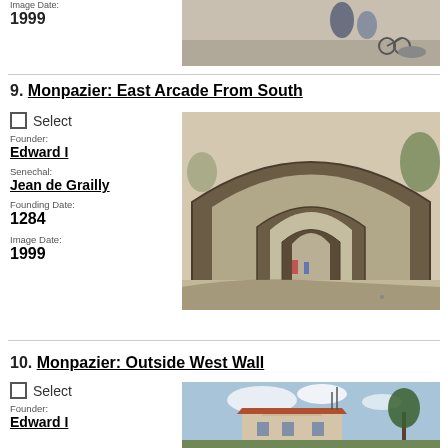Image Date:
1999
[Figure (photo): Partial photo showing people near a wheelchair on a paved area]
9. Monpazier: East Arcade From South
Select
Founder:
Edward I
Senechal:
Jean de Grailly
Founding Date:
1284
Image Date:
1999
[Figure (photo): Photo of stone arched arcade in Monpazier, showing multiple arches receding into the distance]
10. Monpazier: Outside West Wall
Select
Founder:
Edward I
[Figure (photo): Partial photo of outside west wall of Monpazier, showing buildings and sky]